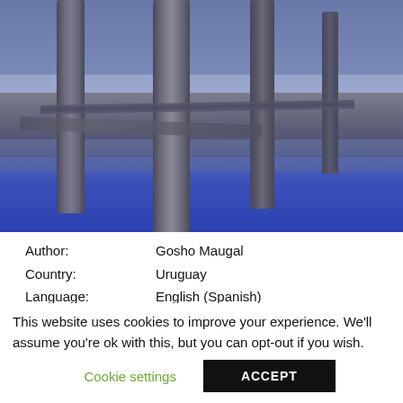[Figure (photo): Blue-tinted photo of wooden pier posts/pilings standing in water or on a beach, viewed from below or at an angle. The image has a cool blue/purple tone with weathered wooden vertical posts prominent in the foreground and a blue sky/water background.]
Author:
Country:
Language:
Genre:
Gosho Maugal
Uruguay
English (Spanish)
Automotive
This website uses cookies to improve your experience. We'll assume you're ok with this, but you can opt-out if you wish.
Cookie settings
ACCEPT